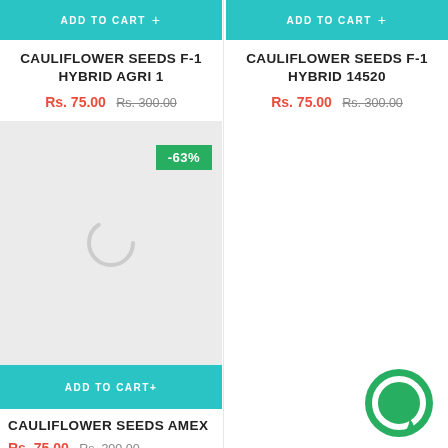ADD TO CART +
CAULIFLOWER SEEDS F-1 HYBRID AGRI 1
Rs. 75.00  Rs. 300.00
ADD TO CART +
CAULIFLOWER SEEDS F-1 HYBRID 14520
Rs. 75.00  Rs. 300.00
[Figure (screenshot): Product image placeholder with grey background, -63% discount badge, and loading spinner]
ADD TO CART +
CAULIFLOWER SEEDS AMEX
Rs. 75.00  Rs. 300.00
[Figure (illustration): Green circular chat/messaging icon at bottom right]